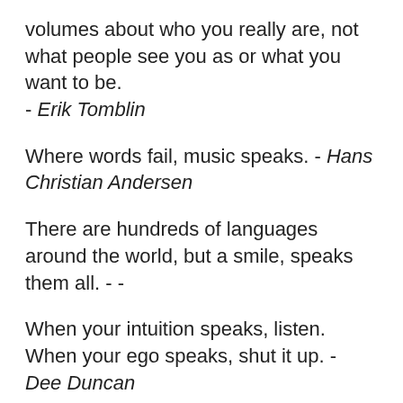volumes about who you really are, not what people see you as or what you want to be. - Erik Tomblin
Where words fail, music speaks. - Hans Christian Andersen
There are hundreds of languages around the world, but a smile, speaks them all. - -
When your intuition speaks, listen. When your ego speaks, shut it up. - Dee Duncan
Quand celui à qui l'on parle ne comprend pas et celui qui parle ne se comprend pas, c'est de la métaphysiqueWhen he to whom a person speaks does not understand, and